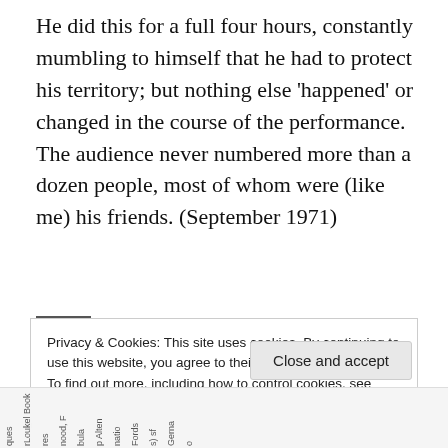He did this for a full four hours, constantly mumbling to himself that he had to protect his territory; but nothing else 'happened' or changed in the course of the performance. The audience never numbered more than a dozen people, most of whom were (like me) his friends. (September 1971)
Privacy & Cookies: This site uses cookies. By continuing to use this website, you agree to their use. To find out more, including how to control cookies, see here: Cookie Policy
Close and accept